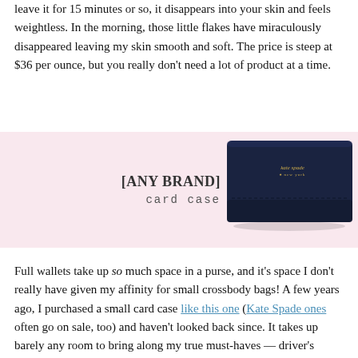leave it for 15 minutes or so, it disappears into your skin and feels weightless. In the morning, those little flakes have miraculously disappeared leaving my skin smooth and soft. The price is steep at $36 per ounce, but you really don't need a lot of product at a time.
[Figure (photo): Pink banner with '[ANY BRAND] card case' text on the left and a navy blue leather card case (kate spade) on the right]
Full wallets take up so much space in a purse, and it's space I don't really have given my affinity for small crossbody bags! A few years ago, I purchased a small card case like this one (Kate Spade ones often go on sale, too) and haven't looked back since. It takes up barely any room to bring along my true must-haves — driver's license, credit card, debit card, and $20 worth of cash — freeing up space for my other daily essentials. I keep my wallet handy in my closet for additional credit cards, gift cards, and